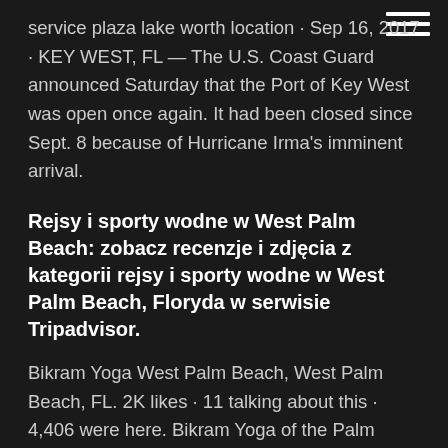[Figure (other): Hamburger menu icon (three horizontal white bars) in the top-right corner]
service plaza lake worth location · Sep 16, 2017 · KEY WEST, FL — The U.S. Coast Guard announced Saturday that the Port of Key West was open once again. It had been closed since Sept. 8 because of Hurricane Irma's imminent arrival.
Rejsy i sporty wodne w West Palm Beach: zobacz recenzje i zdjęcia z kategorii rejsy i sporty wodne w West Palm Beach, Floryda w serwisie Tripadvisor.
Bikram Yoga West Palm Beach, West Palm Beach, FL. 2K likes · 11 talking about this · 4,406 were here. Bikram Yoga of the Palm Beaches is a certified Bikram Yoga studio conveniently located in central Top West Palm Beach Parks & Nature Attractions: See reviews and photos of parks, gardens & other nature attractions in West Palm Beach